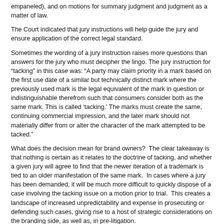empaneled), and on motions for summary judgment and judgment as a matter of law.
The Court indicated that jury instructions will help guide the jury and ensure application of the correct legal standard.
Sometimes the wording of a jury instruction raises more questions than answers for the jury who must decipher the lingo. The jury instruction for “tacking” in this case was: “A party may claim priority in a mark based on the first use date of a similar but technically distinct mark where the previously used mark is the legal equivalent of the mark in question or indistinguishable therefrom such that consumers consider both as the same mark. This is called ‘tacking.’ The marks must create the same, continuing commercial impression, and the later mark should not materially differ from or alter the character of the mark attempted to be tacked.”
What does the decision mean for brand owners?  The clear takeaway is that nothing is certain as it relates to the doctrine of tacking, and whether a given jury will agree to find that the newer iteration of a trademark is tied to an older manifestation of the same mark.  In cases where a jury has been demanded, it will be much more difficult to quickly dispose of a case involving the tacking issue on a motion prior to trial.  This creates a landscape of increased unpredictability and expense in prosecuting or defending such cases, giving rise to a host of strategic considerations on the branding side, as well as, in pre-litigation.
Posted By: Christopher J. Passarelli at 12:30 AM   No comments
Tags: Supreme Court • Trademark Tacking • Trademarks
Topics: Intellectual Property